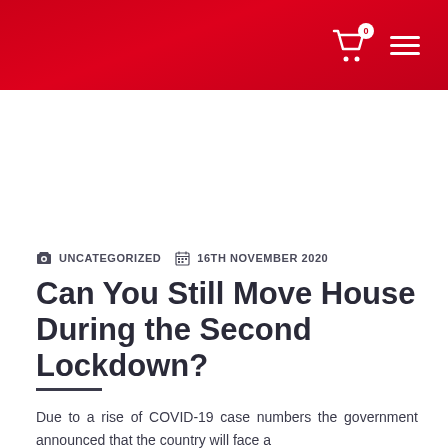0 (cart icon, hamburger menu)
UNCATEGORIZED   16TH NOVEMBER 2020
Can You Still Move House During the Second Lockdown?
Due to a rise of COVID-19 case numbers the government announced that the country will face a